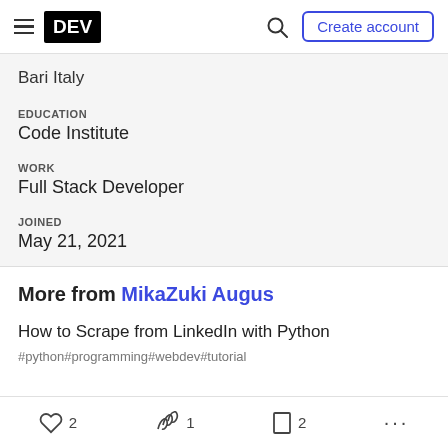DEV | Create account
Bari Italy
EDUCATION
Code Institute
WORK
Full Stack Developer
JOINED
May 21, 2021
More from MikaZuki Augus
How to Scrape from LinkedIn with Python
#python  #programming  #webdev  #tutorial
2  1  2  ...